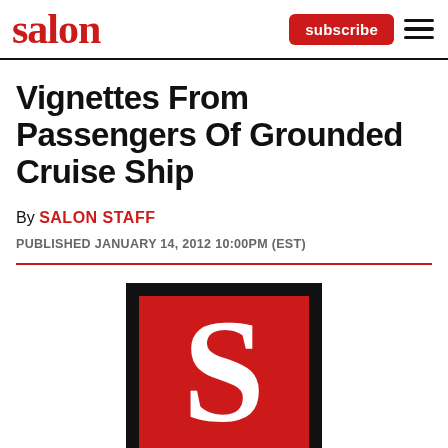salon | subscribe
Vignettes From Passengers Of Grounded Cruise Ship
By SALON STAFF
PUBLISHED JANUARY 14, 2012 10:00PM (EST)
[Figure (logo): Salon magazine logo: large white serif S on red background inside black border frame]